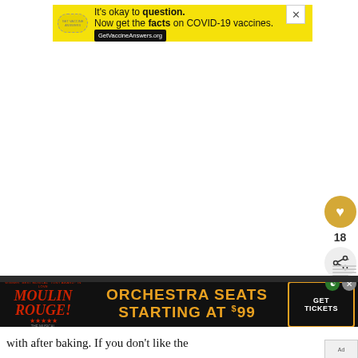[Figure (screenshot): Yellow advertisement banner: 'It's okay to question. Now get the facts on COVID-19 vaccines. GetVaccineAnswers.org' with close button (X)]
[Figure (screenshot): Sidebar with golden heart/favorite button, count '18', and share button]
[Figure (screenshot): Moulin Rouge musical advertisement: 'ORCHESTRA SEATS STARTING AT $99' with GET TICKETS button on dark background]
with after baking. If you don't like the